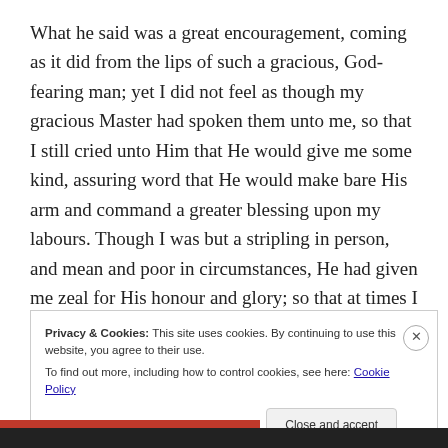What he said was a great encouragement, coming as it did from the lips of such a gracious, God-fearing man; yet I did not feel as though my gracious Master had spoken them unto me, so that I still cried unto Him that He would give me some kind, assuring word that He would make bare His arm and command a greater blessing upon my labours. Though I was but a stripling in person, and mean and poor in circumstances, He had given me zeal for His honour and glory; so that at times I was like a bottle ready
Privacy & Cookies: This site uses cookies. By continuing to use this website, you agree to their use.
To find out more, including how to control cookies, see here: Cookie Policy
Close and accept